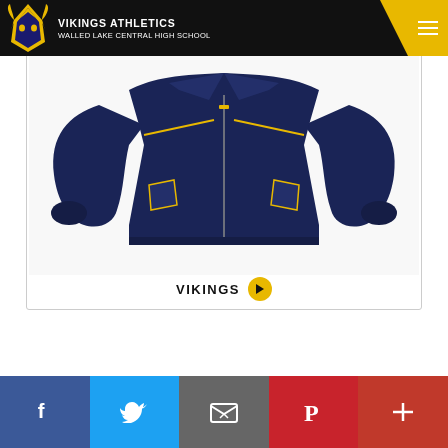VIKINGS ATHLETICS — WALLED LAKE CENTRAL HIGH SCHOOL
[Figure (photo): Navy blue zip-up jacket with gold accents on zipper and pockets, displayed on white background. Text 'VIKINGS' with a play button icon below the jacket.]
Social share bar: Facebook, Twitter, Email, Pinterest, More